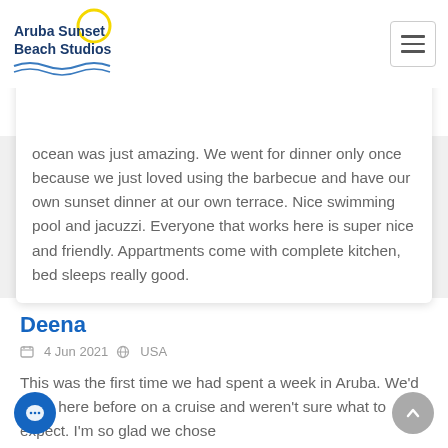Aruba Sunset Beach Studios
ocean was just amazing. We went for dinner only once because we just loved using the barbecue and have our own sunset dinner at our own terrace. Nice swimming pool and jacuzzi. Everyone that works here is super nice and friendly. Appartments come with complete kitchen, bed sleeps really good.
Deena
4 Jun 2021  USA
This was the first time we had spent a week in Aruba. We'd been here before on a cruise and weren't sure what to expect. I'm so glad we chose